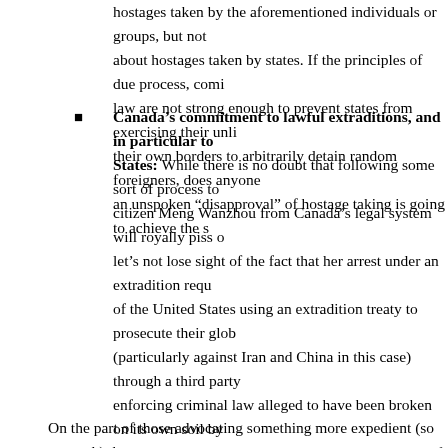hostages taken by the aforementioned individuals or groups, but not about hostages taken by states. If the principles of due process, comi law are not strong enough to prevent states from exercising their unli their own borders to arbitrarily detain random foreigners, does anyone an unspoken “disapproval” of hostage taking is going to achieve the s
Canada’s commitment to lawful extraditions, and in particular to States: While there is no doubt that following some sort of process to citizen Meng Wanzhou from Canada’s legal system will royally piss o let’s not lose sight of the fact that her arrest under an extradition requ of the United States using an extradition treaty to prosecute their glob (particularly against Iran and China in this case) through a third party enforcing criminal law alleged to have been broken on its own soil by citizens. Now, I don’t claim any expert knowledge of extrajurisdictiona the principle applies to international sanctions), but it seems to me th considered differently to cases involving the citizens of one’s own co other jurisdictions to avoid prosecution in the home jurisdiction. In my States and China — their empires colliding — need to use other mea mutual attempts to exert international control, in ways that don’t com called allies … or in the latter’s case, the country that many of their ci home, and will likely be calling home to a greater extent following Bei freedom in Hong Kong.
On the part of those advocating something more expedient (so to speak) th